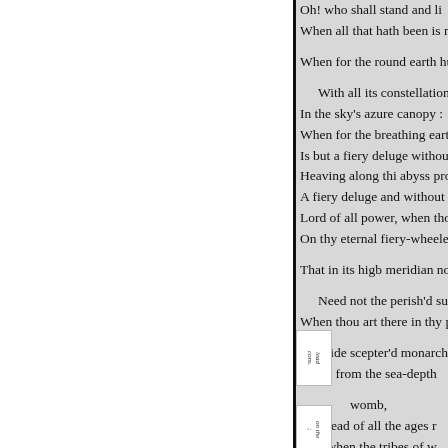Oh! who shall stand and li
When all that hath been is r

When for the round earth hung i

With all its constellations r
In the sky's azure canopy :
When for the breathing eart
Is but a fiery deluge withou
Heaving along thi abyss pro
A fiery deluge and without e
Lord of all power, when tho
On thy eternal fiery-wheele

That in its higb meridian noo

Need not the perish'd sun n
When thou art there in thy p

Wide scepter'd monarch o
When from the sea-depth

womb,
The dead of all the ages r
And when the tribes of w